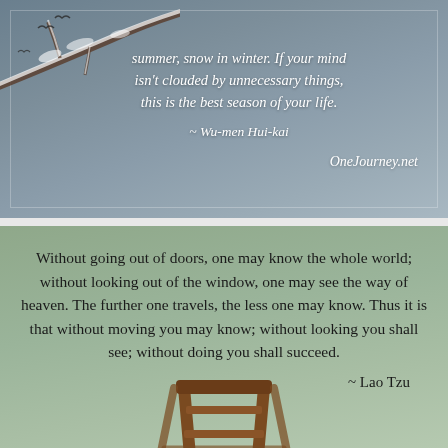[Figure (photo): Top card with blue-grey background, snowy branch in upper-left, white italic quote text, author attribution, and website]
summer, snow in winter. If your mind isn't clouded by unnecessary things, this is the best season of your life.
~ Wu-men Hui-kai
OneJourney.net
[Figure (photo): Bottom card with sage green background, dark text quote, author attribution, and wooden step ladder illustration]
Without going out of doors, one may know the whole world; without looking out of the window, one may see the way of heaven. The further one travels, the less one may know. Thus it is that without moving you may know; without looking you shall see; without doing you shall succeed.
~ Lao Tzu